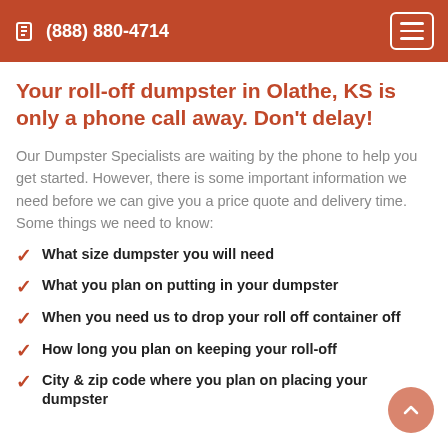(888) 880-4714
Your roll-off dumpster in Olathe, KS is only a phone call away. Don't delay!
Our Dumpster Specialists are waiting by the phone to help you get started. However, there is some important information we need before we can give you a price quote and delivery time. Some things we need to know:
What size dumpster you will need
What you plan on putting in your dumpster
When you need us to drop your roll off container off
How long you plan on keeping your roll-off
City & zip code where you plan on placing your dumpster